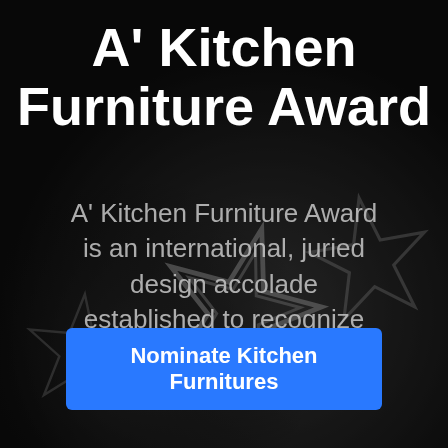[Figure (photo): Dark background with metallic star-shaped award trophies (A' Design Award statuettes) arranged decoratively, photographed in black and white with slight blur.]
A' Kitchen Furniture Award
A' Kitchen Furniture Award is an international, juried design accolade established to recognize and promote good kitchen furnitures.
Nominate Kitchen Furnitures